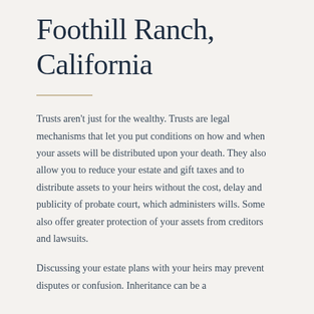Foothill Ranch, California
Trusts aren't just for the wealthy. Trusts are legal mechanisms that let you put conditions on how and when your assets will be distributed upon your death. They also allow you to reduce your estate and gift taxes and to distribute assets to your heirs without the cost, delay and publicity of probate court, which administers wills. Some also offer greater protection of your assets from creditors and lawsuits.
Discussing your estate plans with your heirs may prevent disputes or confusion. Inheritance can be a